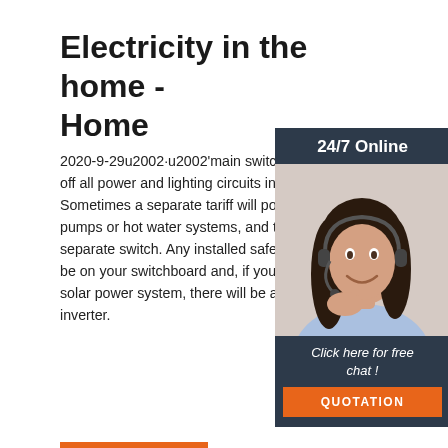Electricity in the home - Home
2020-9-29u2002·u2002'main switch' that w... off all power and lighting circuits in your ho... Sometimes a separate tariff will power poo... pumps or hot water systems, and this will ... separate switch. Any installed safety switc... be on your switchboard and, if your house ... solar power system, there will be a nearby... inverter.
[Figure (photo): Customer support representative photo with '24/7 Online' header and 'Click here for free chat!' text, plus QUOTATION button]
Get Price